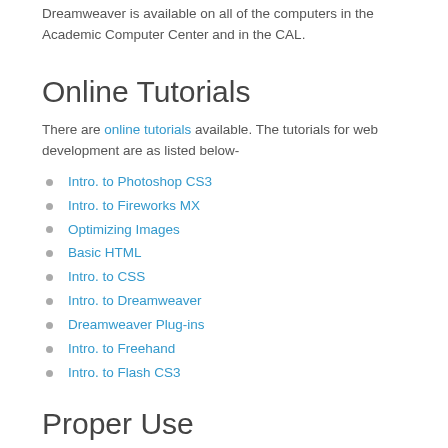Dreamweaver is available on all of the computers in the Academic Computer Center and in the CAL.
Online Tutorials
There are online tutorials available. The tutorials for web development are as listed below-
Intro. to Photoshop CS3
Intro. to Fireworks MX
Optimizing Images
Basic HTML
Intro. to CSS
Intro. to Dreamweaver
Dreamweaver Plug-ins
Intro. to Freehand
Intro. to Flash CS3
Proper Use
Proper use of your web space is important. Please see